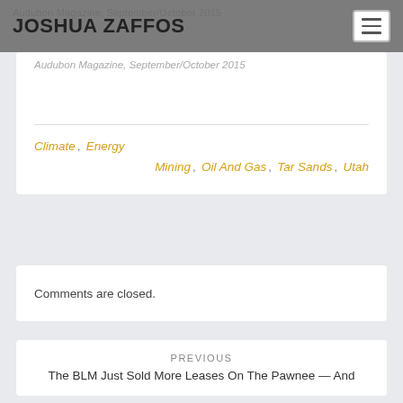JOSHUA ZAFFOS
Audubon Magazine, September/October 2015
Climate, Energy
Mining, Oil And Gas, Tar Sands, Utah
Comments are closed.
PREVIOUS
The BLM Just Sold More Leases On The Pawnee — And Environmentalists Hat Say That Is For The Bi...